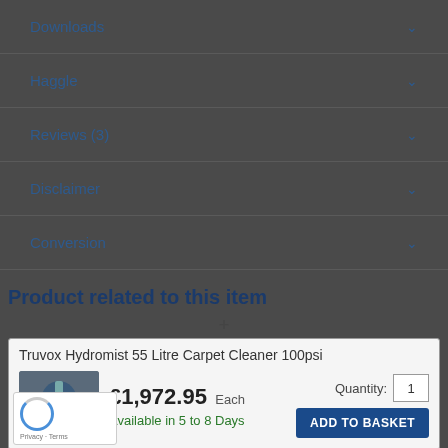Downloads
Haggle
Reviews (3)
Disclaimer
Conversion
Product related to this item
Truvox Hydromist 55 Litre Carpet Cleaner 100psi
£1,972.95 Each
Available in 5 to 8 Days
Quantity: 1
ADD TO BASKET